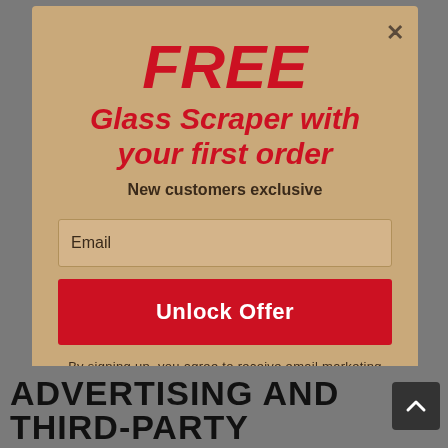FREE
Glass Scraper with your first order
New customers exclusive
Email
Unlock Offer
By signing up, you agree to receive email marketing
No, thanks
ADVERTISING AND THIRD-PARTY